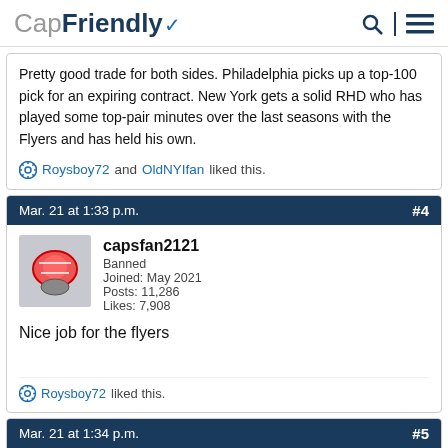CapFriendly
Pretty good trade for both sides. Philadelphia picks up a top-100 pick for an expiring contract. New York gets a solid RHD who has played some top-pair minutes over the last seasons with the Flyers and has held his own.
Roysboy72 and OldNYIfan liked this.
Mar. 21 at 1:33 p.m. #4
capsfan2121
Banned
Joined: May 2021
Posts: 11,286
Likes: 7,908
Nice job for the flyers
Roysboy72 liked this.
Mar. 21 at 1:34 p.m. #5
Yari